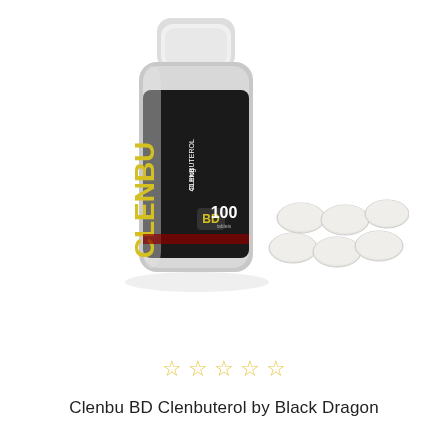[Figure (photo): Product photo showing a black bottle labeled 'CLENBU BD Clenbuterol 40 mcg 100 tablets' with a white cap, and several small round white tablets scattered to the right of the bottle.]
☆ ☆ ☆ ☆ ☆
Clenbu BD Clenbuterol by Black Dragon